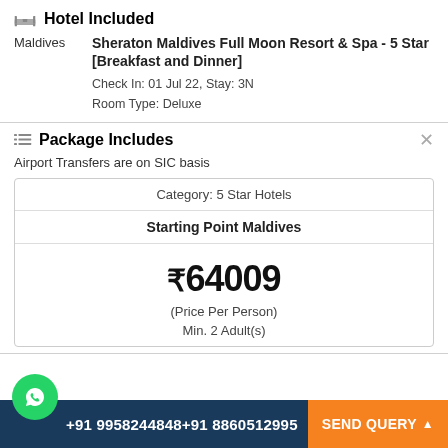Hotel Included
Maldives   Sheraton Maldives Full Moon Resort & Spa - 5 Star [Breakfast and Dinner]
Check In: 01 Jul 22, Stay: 3N
Room Type: Deluxe
Package Includes
Airport Transfers are on SIC basis
| Category: 5 Star Hotels |
| Starting Point Maldives |
| ₹64009 |
| (Price Per Person) |
| Min. 2 Adult(s) |
+91 9958244848+91 8860512995   SEND QUERY